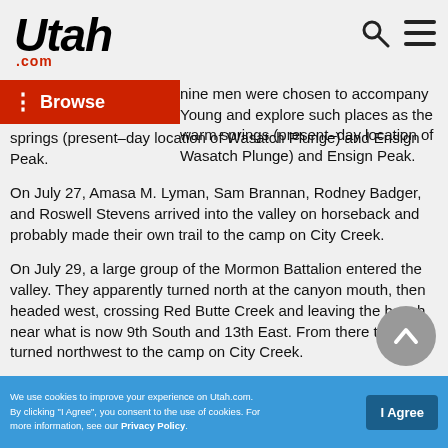Utah.com
Browse
nine men were chosen to accompany Young and explore such places as the warm springs (present-day location of Wasatch Plunge) and Ensign Peak.
On July 27, Amasa M. Lyman, Sam Brannan, Rodney Badger, and Roswell Stevens arrived into the valley on horseback and probably made their own trail to the camp on City Creek.
On July 29, a large group of the Mormon Battalion entered the valley. They apparently turned north at the canyon mouth, then headed west, crossing Red Butte Creek and leaving the bench near what is now 9th South and 13th East. From there the trail turned northwest to the camp on City Creek.
We use cookies to improve your experience on Utah.com. By clicking "I Agree", you consent to the use of cookies. For more information, see our Privacy Policy.